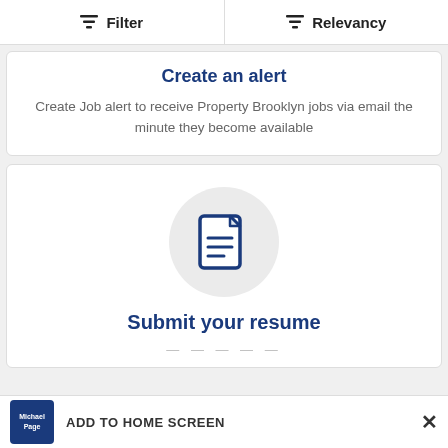Filter   Relevancy
Create an alert
Create Job alert to receive Property Brooklyn jobs via email the minute they become available
[Figure (illustration): Document/resume icon inside a light gray circle]
Submit your resume
...
ADD TO HOME SCREEN